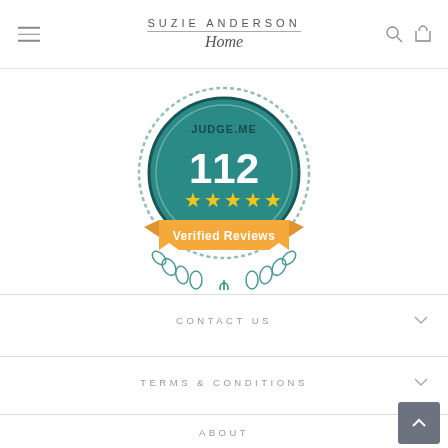SUZIE ANDERSON Home
[Figure (logo): Judge.me badge showing 112 five-star Verified Reviews with teal circular emblem, yellow stars, orange banner, and laurel wreath]
CONTACT US
TERMS & CONDITIONS
ABOUT